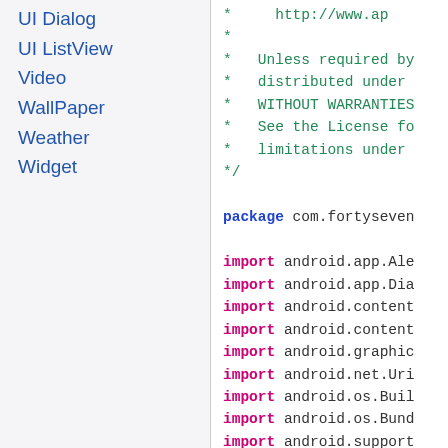UI Dialog
UI ListView
Video
WallPaper
Weather
Widget
* http://www.ap...
 *
 * Unless required by...
 * distributed under...
 * WITHOUT WARRANTIES...
 * See the License fo...
 * limitations under...
 */

package com.fortyseven...

import android.app.Ale...
import android.app.Dia...
import android.content...
import android.content...
import android.graphic...
import android.net.Uri...
import android.os.Buil...
import android.os.Bund...
import android.support...
import android.widget....
import com.fortyseven...
import com.fortyseven...